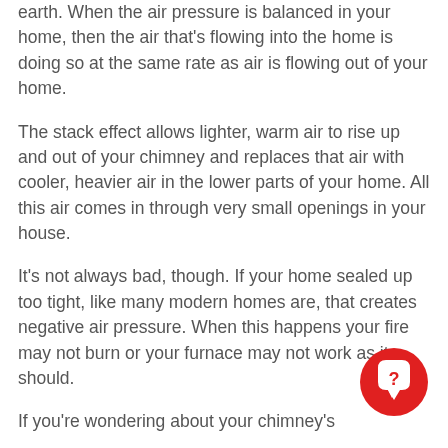earth. When the air pressure is balanced in your home, then the air that's flowing into the home is doing so at the same rate as air is flowing out of your home.
The stack effect allows lighter, warm air to rise up and out of your chimney and replaces that air with cooler, heavier air in the lower parts of your home. All this air comes in through very small openings in your house.
It's not always bad, though. If your home sealed up too tight, like many modern homes are, that creates negative air pressure. When this happens your fire may not burn or your furnace may not work as it should.
If you're wondering about your chimney's
[Figure (other): Red circular chat/help button with a white question mark speech bubble icon]